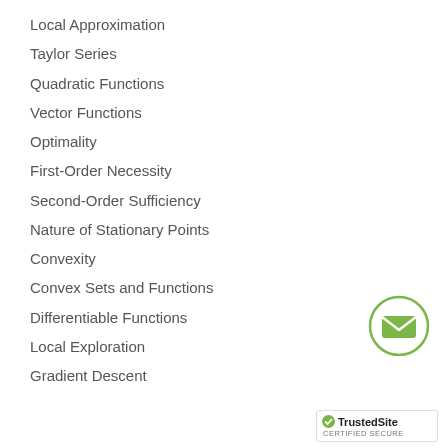Local Approximation
Taylor Series
Quadratic Functions
Vector Functions
Optimality
First-Order Necessity
Second-Order Sufficiency
Nature of Stationary Points
Convexity
Convex Sets and Functions
Differentiable Functions
Local Exploration
Gradient Descent
[Figure (illustration): Green circle with envelope/email icon inside]
[Figure (logo): TrustedSite CERTIFIED SECURE badge with green checkmark]